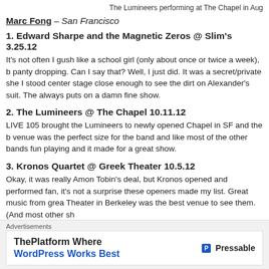The Lumineers performing at The Chapel in Aug
Marc Fong – San Francisco
1. Edward Sharpe and the Magnetic Zeros @ Slim's 3.25.12
It's not often I gush like a school girl (only about once or twice a week), b panty dropping. Can I say that? Well, I just did. It was a secret/private she I stood center stage close enough to see the dirt on Alexander's suit. The always puts on a damn fine show.
2. The Lumineers @ The Chapel 10.11.12
LIVE 105 brought the Lumineers to newly opened Chapel in SF and the b venue was the perfect size for the band and like most of the other bands fun playing and it made for a great show.
3. Kronos Quartet @ Greek Theater 10.5.12
Okay, it was really Amon Tobin's deal, but Kronos opened and performed fan, it's not a surprise these openers made my list. Great music from grea Theater in Berkeley was the best venue to see them. (And most other sh
4. Willie Nelson and Family @ The Fox, Oakland 3.15.12
Advertisements
[Figure (other): Advertisement banner for Pressable - ThePlatform Where WordPress Works Best]